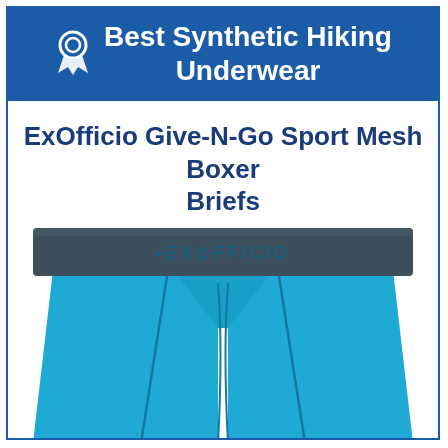Best Synthetic Hiking Underwear
ExOfficio Give-N-Go Sport Mesh Boxer Briefs
[Figure (photo): Blue ExOfficio Give-N-Go Sport Mesh Boxer Briefs with dark navy waistband showing the ExOfficio logo]